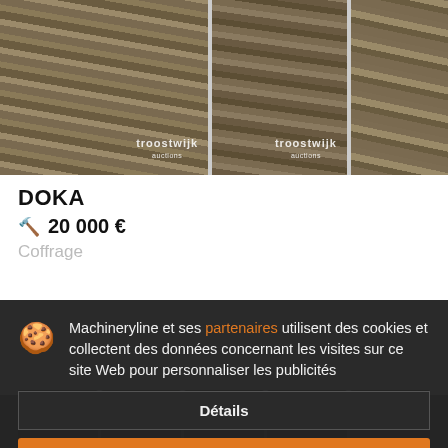[Figure (photo): Three photos of stacked wooden formwork planks (DOKA) with Troostwijk Auctions watermarks]
DOKA
🔨 20 000 €
Coffrage
Machineryline et ses partenaires utilisent des cookies et collectent des données concernant les visites sur ce site Web pour personnaliser les publicités
Détails
Accepter et fermer